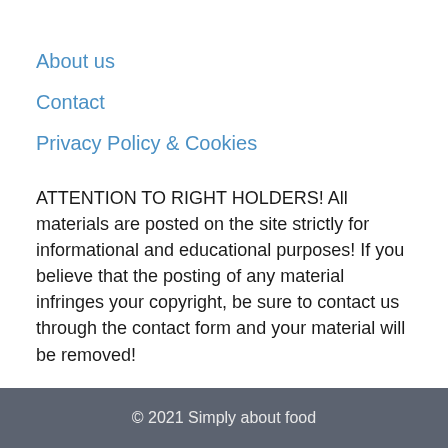About us
Contact
Privacy Policy & Cookies
ATTENTION TO RIGHT HOLDERS! All materials are posted on the site strictly for informational and educational purposes! If you believe that the posting of any material infringes your copyright, be sure to contact us through the contact form and your material will be removed!
© 2021 Simply about food